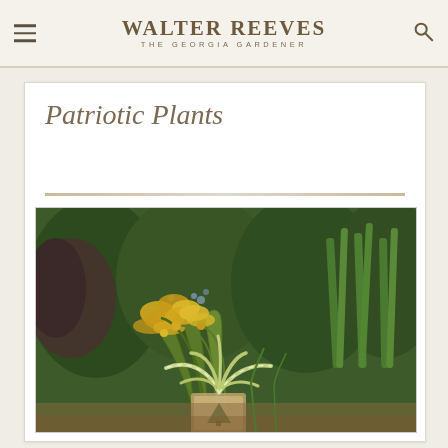WALTER REEVES THE GEORGIA GARDENER
Patriotic Plants
[Figure (photo): Garden photo showing yellow goldenrod flowers, green ornamental grasses, and a yucca plant with variegated foliage in a naturalistic garden setting with various flowering plants in the background.]